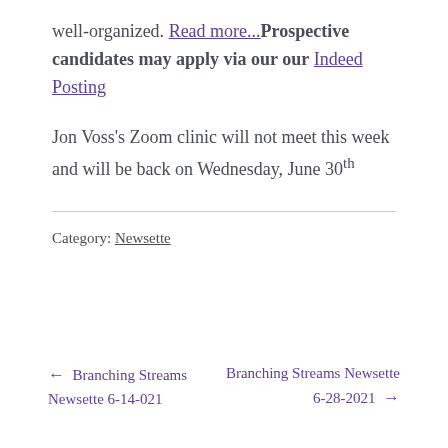well-organized. Read more...Prospective candidates may apply via our our Indeed Posting
Jon Voss's Zoom clinic will not meet this week and will be back on Wednesday, June 30th
Category: Newsette
← Branching Streams Newsette 6-14-021
Branching Streams Newsette 6-28-2021 →